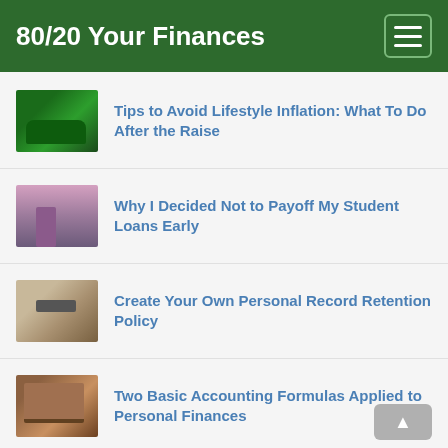80/20 Your Finances
Tips to Avoid Lifestyle Inflation: What To Do After the Raise
Why I Decided Not to Payoff My Student Loans Early
Create Your Own Personal Record Retention Policy
Two Basic Accounting Formulas Applied to Personal Finances
Why You Need A Home Maintenance Budget